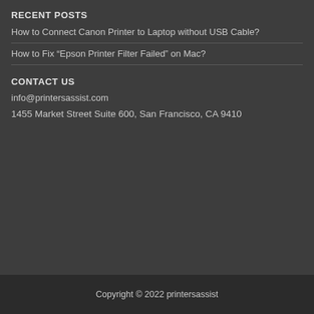RECENT POSTS
How to Connect Canon Printer to Laptop without USB Cable?
How to Fix “Epson Printer Filter Failed” on Mac?
CONTACT US
info@printersassist.com
1455 Market Street Suite 600, San Francisco, CA 9410
Copyright © 2022 printersassist